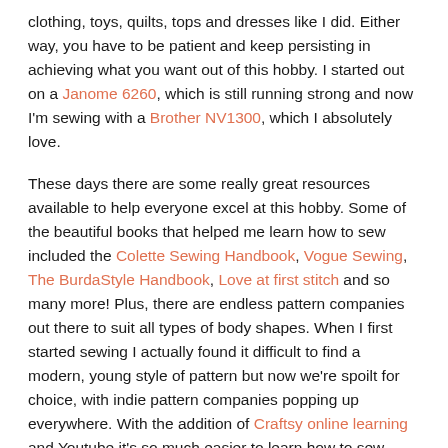clothing, toys, quilts, tops and dresses like I did. Either way, you have to be patient and keep persisting in achieving what you want out of this hobby. I started out on a Janome 6260, which is still running strong and now I'm sewing with a Brother NV1300, which I absolutely love.

These days there are some really great resources available to help everyone excel at this hobby. Some of the beautiful books that helped me learn how to sew included the Colette Sewing Handbook, Vogue Sewing, The BurdaStyle Handbook, Love at first stitch and so many more! Plus, there are endless pattern companies out there to suit all types of body shapes. When I first started sewing I actually found it difficult to find a modern, young style of pattern but now we're spoilt for choice, with indie pattern companies popping up everywhere. With the addition of Craftsy online learning and Youtube it's so much easier to learn how to sew without spending anything (apart from fabric and notions of course)!